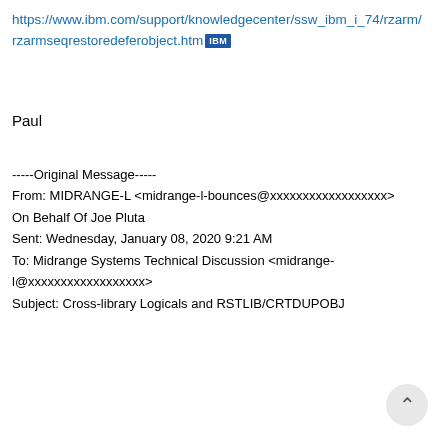https://www.ibm.com/support/knowledgecenter/ssw_ibm_i_74/rzarm/rzarmseqrestoredeferobject.htm [IBM]
Paul
-----Original Message-----
From: MIDRANGE-L <midrange-l-bounces@xxxxxxxxxxxxxxxxxx>
On Behalf Of Joe Pluta
Sent: Wednesday, January 08, 2020 9:21 AM
To: Midrange Systems Technical Discussion <midrange-l@xxxxxxxxxxxxxxxxx>
Subject: Cross-library Logicals and RSTLIB/CRTDUPOBJ